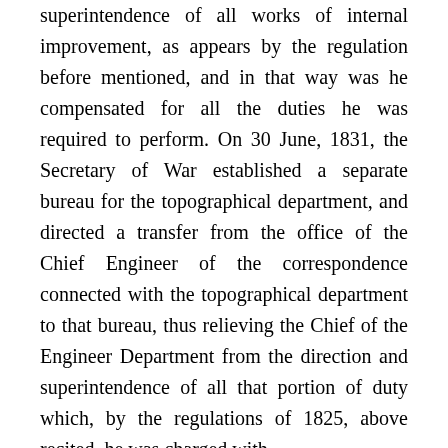superintendence of all works of internal improvement, as appears by the regulation before mentioned, and in that way was he compensated for all the duties he was required to perform. On 30 June, 1831, the Secretary of War established a separate bureau for the topographical department, and directed a transfer from the office of the Chief Engineer of the correspondence connected with the topographical department to that bureau, thus relieving the Chief of the Engineer Department from the direction and superintendence of all that portion of duty which, by the regulations of 1825, above recited, he was charged with.
"The cases cited by Gen. Gratiot, of pay granted to John S. Sullivan, David Shriver, James Geddes and Nathan S. Roberts, civil engineers, are by no means analogous to his claim; they were civil engineers, appointed by the Secretary of War in virtue of an act of Congress and